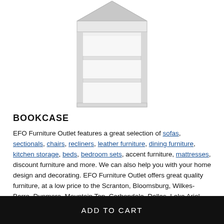[Figure (photo): Product photo of a white bookcase with three shelves and a triangular/peaked top section, shown against a white background.]
BOOKCASE
EFO Furniture Outlet features a great selection of sofas, sectionals, chairs, recliners, leather furniture, dining furniture, kitchen storage, beds, bedroom sets, accent furniture, mattresses, discount furniture and more. We can also help you with your home design and decorating. EFO Furniture Outlet offers great quality furniture, at a low price to the Scranton, Bloomsburg, Wilkes-Barre, Dunmore, Mountain Top, Carbondale, Dallas, Lake Ariel, Pittston, West Pittston, Olyphant, Blakely,
ADD TO CART